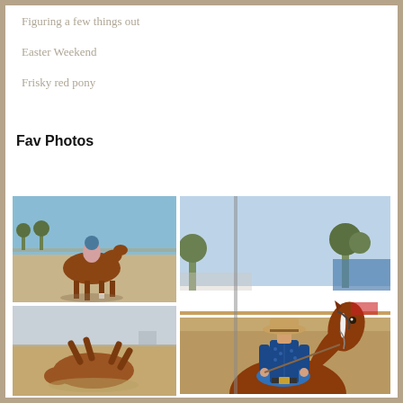Figuring a few things out
Easter Weekend
Frisky red pony
Fav Photos
[Figure (photo): Person riding a chestnut horse in a sandy outdoor arena, blue sky background]
[Figure (photo): Chestnut horse rolling in a sandy paddock, overcast sky]
[Figure (photo): Close-up of a chestnut horse head and neck from behind]
[Figure (photo): Woman in western attire with cowboy hat riding a chestnut horse at a show or arena]